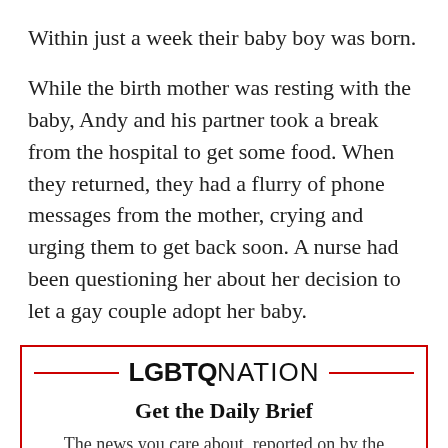Within just a week their baby boy was born.
While the birth mother was resting with the baby, Andy and his partner took a break from the hospital to get some food. When they returned, they had a flurry of phone messages from the mother, crying and urging them to get back soon. A nurse had been questioning her about her decision to let a gay couple adopt her baby.
[Figure (logo): LGBTQ Nation newsletter signup box with red border, LGBTQ Nation logo, headline 'Get the Daily Brief', subtext 'The news you care about, reported on by the people who care about you.']